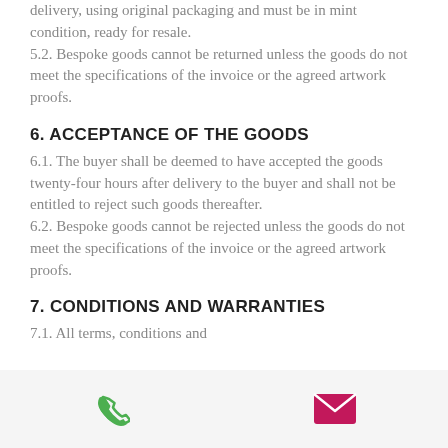delivery, using original packaging and must be in mint condition, ready for resale. 5.2. Bespoke goods cannot be returned unless the goods do not meet the specifications of the invoice or the agreed artwork proofs.
6. ACCEPTANCE OF THE GOODS
6.1. The buyer shall be deemed to have accepted the goods twenty-four hours after delivery to the buyer and shall not be entitled to reject such goods thereafter. 6.2. Bespoke goods cannot be rejected unless the goods do not meet the specifications of the invoice or the agreed artwork proofs.
7. CONDITIONS AND WARRANTIES
7.1. All terms, conditions and
[Figure (other): Footer bar with phone icon (green) and email/envelope icon (magenta/pink)]